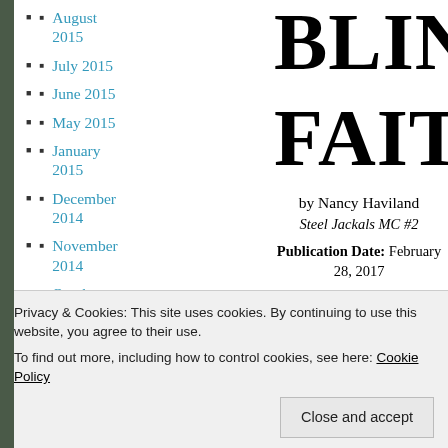August 2015
July 2015
June 2015
May 2015
January 2015
December 2014
November 2014
October 2013
BLIND FAITH
by Nancy Haviland
Steel Jackals MC #2
Publication Date: February 28, 2017
Genres: Adult, Contemporary, Erotic, Romance, MC
Privacy & Cookies: This site uses cookies. By continuing to use this website, you agree to their use.
To find out more, including how to control cookies, see here: Cookie Policy
Close and accept